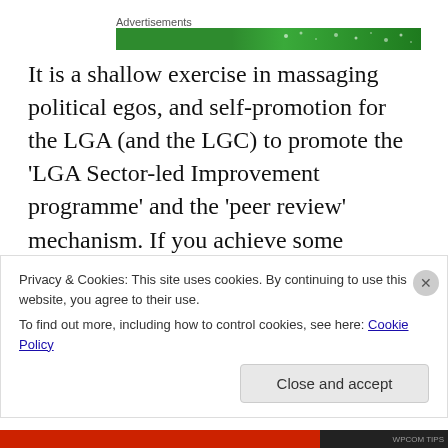[Figure (other): Advertisements banner — green gradient bar with sparkle/star effects]
It is a shallow exercise in massaging political egos, and self-promotion for the LGA (and the LGC) to promote the 'LGA Sector-led Improvement programme' and the 'peer review' mechanism. If you achieve some supposed 'improvement', by some supposed 'measure' or 'other' and provide the tea and biscuits, the LGA will bask in the glory,
Privacy & Cookies: This site uses cookies. By continuing to use this website, you agree to their use.
To find out more, including how to control cookies, see here: Cookie Policy
Close and accept